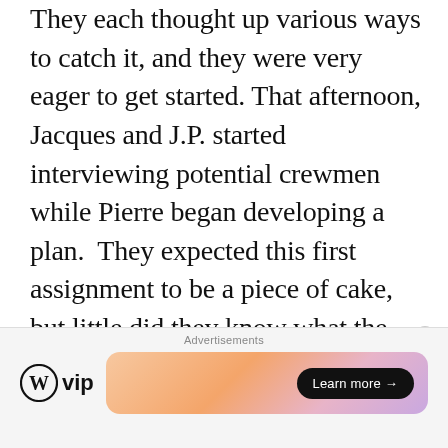They each thought up various ways to catch it, and they were very eager to get started. That afternoon, Jacques and J.P. started interviewing potential crewmen while Pierre began developing a plan.  They expected this first assignment to be a piece of cake, but little did they know what the future had in store...
NEW STORY #1 : BURFORD'S WEEKEND
Advertisements
[Figure (logo): WordPress VIP logo with circular W icon and 'vip' text]
[Figure (infographic): Colorful gradient advertisement banner with 'Learn more →' button]